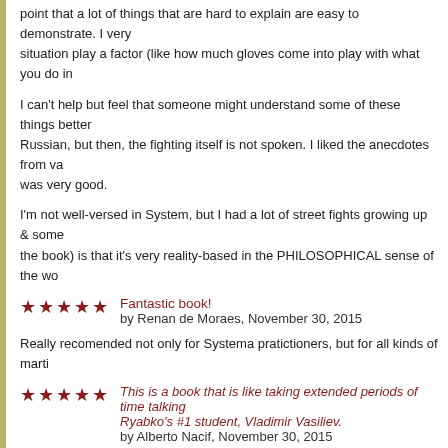point that a lot of things that are hard to explain are easy to demonstrate. I very much enjoy watching situation play a factor (like how much gloves come into play with what you do in
I can't help but feel that someone might understand some of these things better if they could read Russian, but then, the fighting itself is not spoken. I liked the anecdotes from va was very good.
I'm not well-versed in System, but I had a lot of street fights growing up & some the book) is that it's very reality-based in the PHILOSOPHICAL sense of the wo
Fantastic book! by Renan de Moraes, November 30, 2015
Really recomended not only for Systema pratictioners, but for all kinds of marti
This is a book that is like taking extended periods of time talking Ryabko's #1 student, Vladimir Vasiliev. by Alberto Nacif, November 30, 2015
Vasiliev is arguably the man who has not only high level knowledge, experience essence of the vast body of knowledge called Systema. The book is well paced, and an easy read initially. The encyclopedic information breathing, body position, movement and psychological states. Then as you sta chapters, and even re-read the whole book for more profound insight. It is a book that should stay on the top shelf of your library, and will, like Vladimi Let us not forget the masterful writing and the format of this book, formulated by